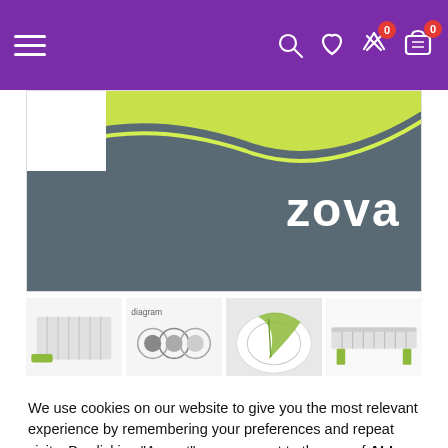Navigation bar with hamburger menu, search, wishlist, compare, and cart icons (cart badge: 0, compare badge: 0)
[Figure (photo): Zova brand banner image with gray and lime-green wave design and Zova logo in white text on gray background]
[Figure (photo): Row of four product thumbnail images showing kitchen/dishwasher rack products]
We use cookies on our website to give you the most relevant experience by remembering your preferences and repeat visits. By clicking “Accept”, you consent to the use of ALL the cookies.
Cookie settings
ACCEPT